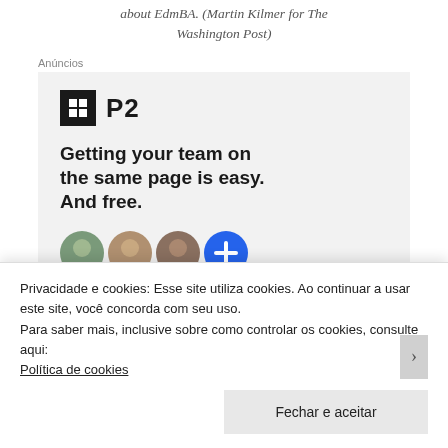about EdmBA. (Martin Kilmer for The Washington Post)
Anúncios
[Figure (screenshot): Advertisement for P2 (Automattic product). Logo shows a black square with a grid icon and 'P2' text. Headline reads: 'Getting your team on the same page is easy. And free.' Below are circular profile photo avatars and a blue plus button.]
Privacidade e cookies: Esse site utiliza cookies. Ao continuar a usar este site, você concorda com seu uso.
Para saber mais, inclusive sobre como controlar os cookies, consulte aqui:
Política de cookies
Fechar e aceitar